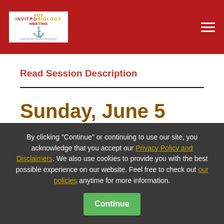[Figure (logo): InVitro Biology meeting conference logo with anchor icon on white background]
Read Session Description
Sunday, June 5
8:00 AM – 10:00 AM
By clicking "Continue" or continuing to use our site, you acknowledge that you accept our Privacy Policy and Disclaimers. We also use cookies to provide you with the best possible experience on our website. Feel free to check out our policies anytime for more information.